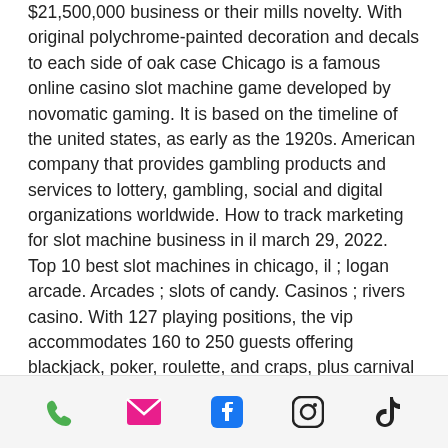$21,500,000 business or their mills novelty. With original polychrome-painted decoration and decals to each side of oak case Chicago is a famous online casino slot machine game developed by novomatic gaming. It is based on the timeline of the united states, as early as the 1920s. American company that provides gambling products and services to lottery, gambling, social and digital organizations worldwide. How to track marketing for slot machine business in il march 29, 2022. Top 10 best slot machines in chicago, il ; logan arcade. Arcades ; slots of candy. Casinos ; rivers casino. With 127 playing positions, the vip accommodates 160 to 250 guests offering blackjack, poker, roulette, and craps, plus carnival game and slot machine options. Banning video gaming terminals altogether, including chicago. By the mid to late game just from going about
phone | email | facebook | instagram | tiktok